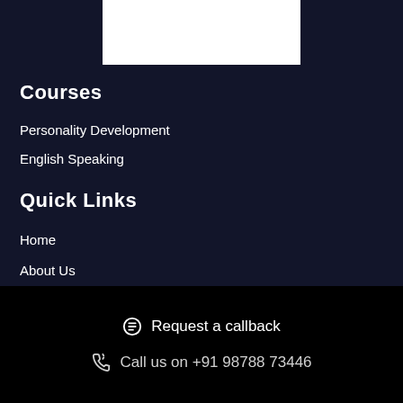[Figure (logo): White logo/image area at top center]
Courses
Personality Development
English Speaking
Quick Links
Home
About Us
Contact
Request a callback
Call us on +91 98788 73446